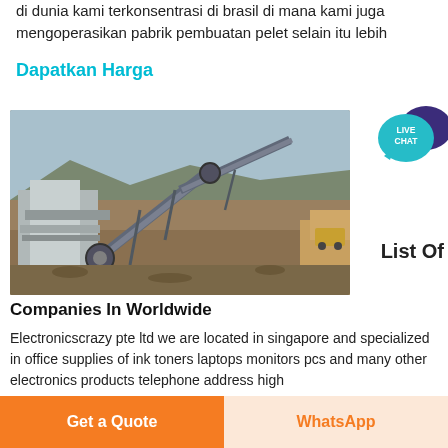di dunia kami terkonsentrasi di brasil di mana kami juga mengoperasikan pabrik pembuatan pelet selain itu lebih
Dapatkan Harga
[Figure (other): Live Chat speech bubble icon with teal and dark purple bubbles]
List Of
[Figure (photo): Aerial view of a mining/crushing plant with conveyor belts and machinery on a dry, arid landscape]
Companies In Worldwide
Electronicscrazy pte ltd we are located in singapore and specialized in office supplies of ink toners laptops monitors pcs and many other electronics products telephone address high
Get a Quote
WhatsApp